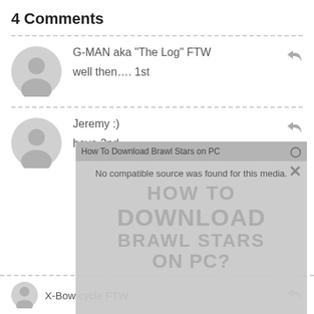4 Comments
G-MAN aka "The Log" FTW
well then…. 1st
Jeremy :)
heya 2nd
[Figure (screenshot): Video overlay with title 'How To Download Brawl Stars on PC', error message 'No compatible source was found for this media.', and background watermark text 'HOW TO DOWNLOAD BRAWL STARS ON PC?']
X-Bow cycle FTW